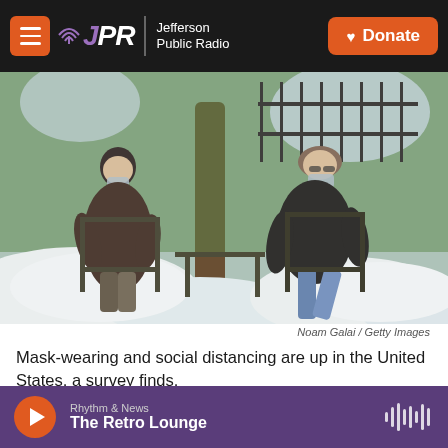JPR Jefferson Public Radio | Donate
[Figure (photo): Two people wearing face masks sitting on chairs outdoors surrounded by snow, social distancing, with ivy-covered tree in background]
Noam Galai / Getty Images
Mask-wearing and social distancing are up in the United States, a survey finds.
Rhythm & News — The Retro Lounge